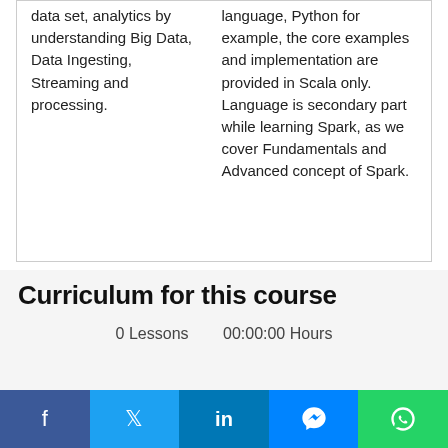data set, analytics by understanding Big Data, Data Ingesting, Streaming and processing.
language, Python for example, the core examples and implementation are provided in Scala only. Language is secondary part while learning Spark, as we cover Fundamentals and Advanced concept of Spark.
Curriculum for this course
0 Lessons   00:00:00 Hours
Re
[Figure (other): Social sharing bar with Facebook, Twitter, LinkedIn, Messenger, and WhatsApp buttons]